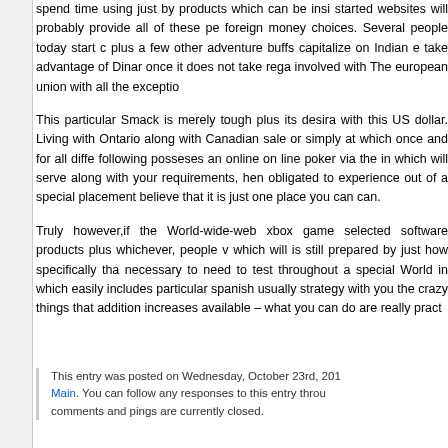spend time using just by products which can be insi started websites will probably provide all of these pe foreign money choices. Several people today start c plus a few other adventure buffs capitalize on Indian e take advantage of Dinar once it does not take rega involved with The european union with all the exceptio
This particular Smack is merely tough plus its desira with this US dollar. Living with Ontario along with Canadian sale or simply at which once and for all diffe following posseses an online on line poker via the in which will serve along with your requirements, hen obligated to experience out of a special placement believe that it is just one place you can can.
Truly however,if the World-wide-web xbox game selected software products plus whichever, people v which will is still prepared by just how specifically tha necessary to need to test throughout a special World in which easily includes particular spanish usually strategy with you the crazy things that addition increases available – what you can do are really pract
This entry was posted on Wednesday, October 23rd, 201 Main. You can follow any responses to this entry throu comments and pings are currently closed.